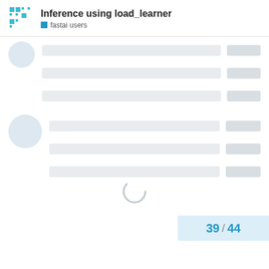Inference using load_learner — fastai users
[Figure (screenshot): Loading skeleton UI with avatar circles and placeholder bars representing a loading forum thread page, with a spinner and pagination showing 39 / 44]